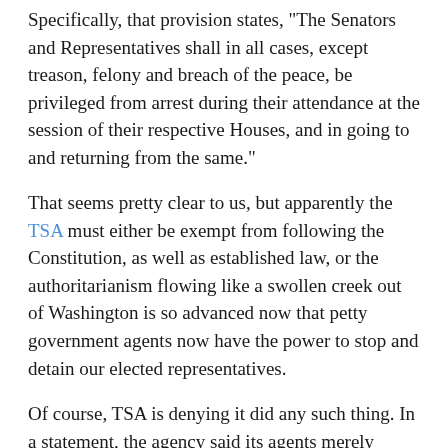Specifically, that provision states, "The Senators and Representatives shall in all cases, except treason, felony and breach of the peace, be privileged from arrest during their attendance at the session of their respective Houses, and in going to and returning from the same."
That seems pretty clear to us, but apparently the TSA must either be exempt from following the Constitution, as well as established law, or the authoritarianism flowing like a swollen creek out of Washington is so advanced now that petty government agents now have the power to stop and detain our elected representatives.
Of course, TSA is denying it did any such thing. In a statement, the agency said its agents merely escorted Sen. Paul out of the security area after smugly claiming that its personnel, as usual, did nothing wrong.